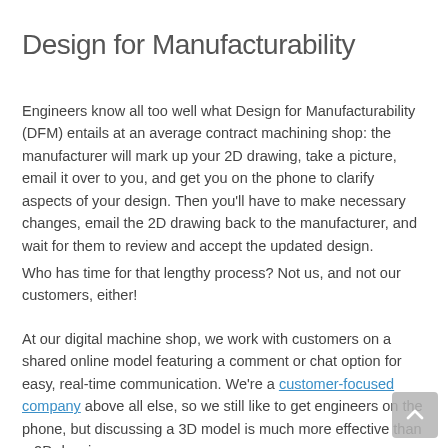Design for Manufacturability
Engineers know all too well what Design for Manufacturability (DFM) entails at an average contract machining shop: the manufacturer will mark up your 2D drawing, take a picture, email it over to you, and get you on the phone to clarify aspects of your design. Then you'll have to make necessary changes, email the 2D drawing back to the manufacturer, and wait for them to review and accept the updated design.
Who has time for that lengthy process? Not us, and not our customers, either!
At our digital machine shop, we work with customers on a shared online model featuring a comment or chat option for easy, real-time communication. We're a customer-focused company above all else, so we still like to get engineers on the phone, but discussing a 3D model is much more effective than a 2D drawing.